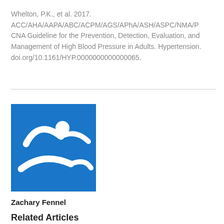Whelton, P.K., et al. 2017. ACC/AHA/AAPA/ABC/ACPM/AGS/APhA/ASH/ASPC/NMA/PCNA Guideline for the Prevention, Detection, Evaluation, and Management of High Blood Pressure in Adults. Hypertension. doi.org/10.1161/HYP.0000000000000065.
[Figure (logo): Blue square logo with white stylized running/swimming figure icon]
Zachary Fennel
Related Articles